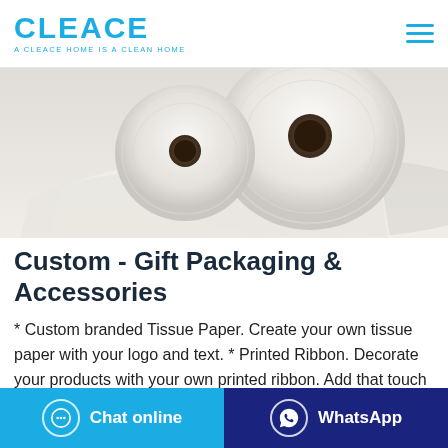CLEACE — A CLEACE HOME IS A CLEAN HOME
[Figure (photo): Close-up photo of white tissue paper rolls on a white background]
Custom - Gift Packaging & Accessories
* Custom branded Tissue Paper. Create your own tissue paper with your logo and text. * Printed Ribbon. Decorate your products with your own printed ribbon. Add that touch of